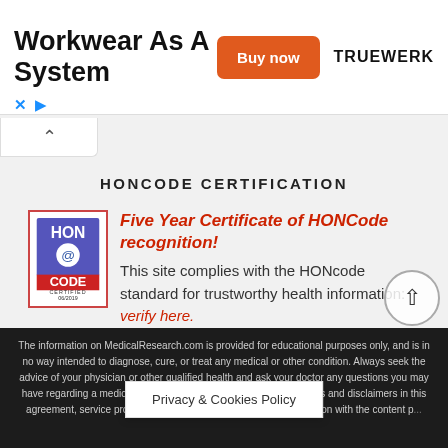[Figure (screenshot): Advertisement banner: 'Workwear As A System' with orange 'Buy now' button and TRUEWERK logo]
HONCODE CERTIFICATION
[Figure (logo): HONCode certified logo badge with 'HON @code CERTIFIED 06/2019' text in blue/purple]
Five Year Certificate of HONCode recognition! This site complies with the HONcode standard for trustworthy health information: verify here.
The information on MedicalResearch.com is provided for educational purposes only, and is in no way intended to diagnose, cure, or treat any medical or other condition. Always seek the advice of your physician or other qualified health and ask your doctor any questions you may have regarding a medical condition. In addition to all other limitations and disclaimers in this agreement, service provider and its third party providers dis... nection with the content p...
Privacy & Cookies Policy